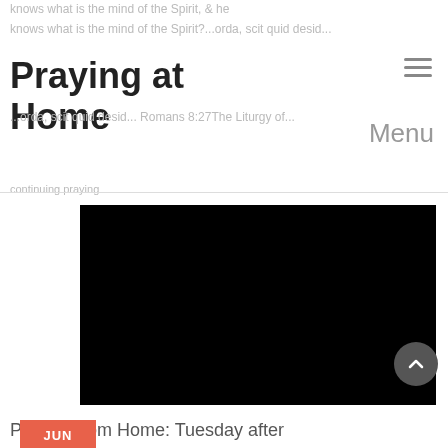Praying at Home | Menu
knows what is the mind of the Spirit...orda, scit quid desideret...Romans 8:27The Liturgy of...
[Figure (screenshot): Black video player embedded in the page, with a date badge showing JUN 02 2020 in coral/red color overlapping the top-left corner of the video]
Praying from Home: Tuesday after